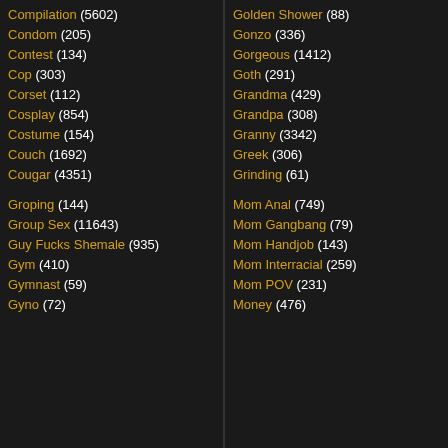Compilation (5602)
Condom (205)
Contest (134)
Cop (303)
Corset (112)
Cosplay (854)
Costume (154)
Couch (1692)
Cougar (4351)
Groping (144)
Group Sex (11643)
Guy Fucks Shemale (935)
Gym (410)
Gymnast (59)
Gyno (72)
Golden Shower (88)
Gonzo (336)
Gorgeous (1412)
Goth (291)
Grandma (429)
Grandpa (308)
Granny (3342)
Greek (306)
Grinding (61)
Mom Anal (749)
Mom Gangbang (79)
Mom Handjob (143)
Mom Interracial (259)
Mom POV (231)
Money (476)